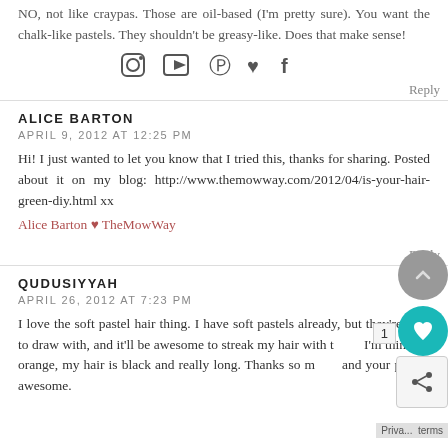NO, not like craypas. Those are oil-based (I'm pretty sure). You want the chalk-like pastels. They shouldn't be greasy-like. Does that make sense!
[Figure (other): Social media icons: Instagram, YouTube, Pinterest, heart/like, Facebook]
Reply
ALICE BARTON
APRIL 9, 2012 AT 12:25 PM
Hi! I just wanted to let you know that I tried this, thanks for sharing. Posted about it on my blog: http://www.themowway.com/2012/04/is-your-hair-green-diy.html xx
Alice Barton ♥ TheMowWay
Reply
QUDUSIYYAH
APRIL 26, 2012 AT 7:23 PM
I love the soft pastel hair thing. I have soft pastels already, but they're hard to draw with, and it'll be awesome to streak my hair with them. I'm thinking orange, my hair is black and really long. Thanks so much, and your post is awesome.